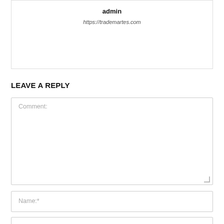admin
https://trademartes.com
LEAVE A REPLY
Comment:
Name:*
Email:*